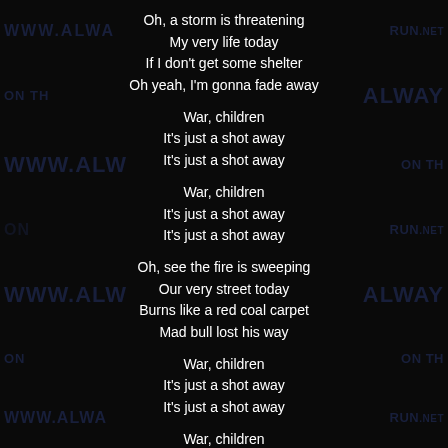Oh, a storm is threatening
My very life today
If I don't get some shelter
Oh yeah, I'm gonna fade away
War, children
It's just a shot away
It's just a shot away
War, children
It's just a shot away
It's just a shot away
Oh, see the fire is sweeping
Our very street today
Burns like a red coal carpet
Mad bull lost his way
War, children
It's just a shot away
It's just a shot away
War, children
It's just a shot away
It's just a shot away
Rape, murder!
It's just a shot away